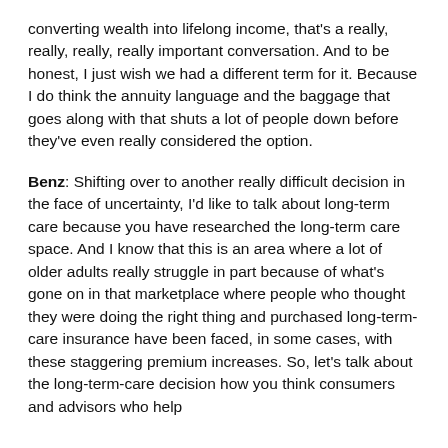converting wealth into lifelong income, that's a really, really, really, really important conversation. And to be honest, I just wish we had a different term for it. Because I do think the annuity language and the baggage that goes along with that shuts a lot of people down before they've even really considered the option.
Benz: Shifting over to another really difficult decision in the face of uncertainty, I'd like to talk about long-term care because you have researched the long-term care space. And I know that this is an area where a lot of older adults really struggle in part because of what's gone on in that marketplace where people who thought they were doing the right thing and purchased long-term-care insurance have been faced, in some cases, with these staggering premium increases. So, let's talk about the long-term-care decision how you think consumers and advisors who help